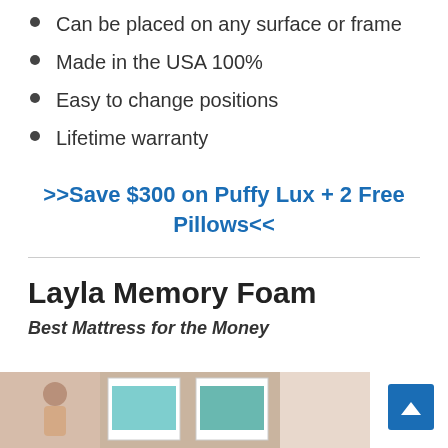Can be placed on any surface or frame
Made in the USA 100%
Easy to change positions
Lifetime warranty
>>Save $300 on Puffy Lux + 2 Free Pillows<<
Layla Memory Foam
Best Mattress for the Money
[Figure (photo): Woman sitting on bed looking at framed wall art, bedroom scene]